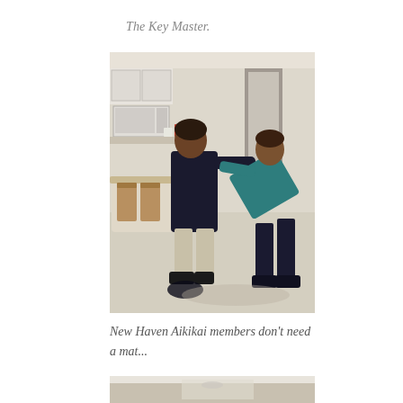The Key Master.
[Figure (photo): Two people practicing Aikido in a kitchen/living room setting. One person in dark clothing appears to be applying a technique on another person in teal/blue top who is bent forward.]
New Haven Aikikai members don't need a mat...
[Figure (photo): Partial view of another photo at the bottom of the page, appears to show an indoor setting.]